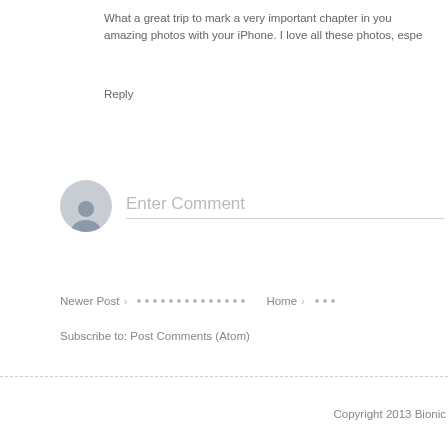What a great trip to mark a very important chapter in you amazing photos with your iPhone. I love all these photos, espe
Reply
[Figure (illustration): User avatar silhouette circle icon with gray background]
Enter Comment
Newer Post · · · · · · · · · · · · · · Home · · · ·
Subscribe to: Post Comments (Atom)
Copyright 2013 Bionic